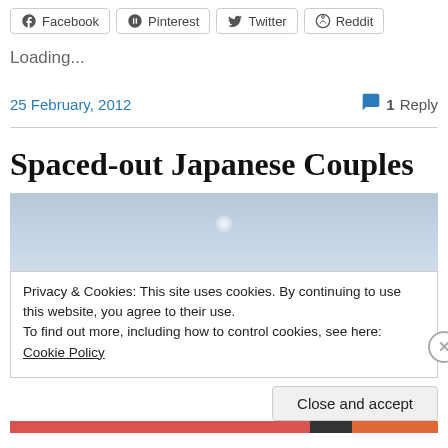[Figure (other): Row of social share buttons: Facebook, Pinterest, Twitter, Reddit]
Loading...
25 February, 2012
1 Reply
Spaced-out Japanese Couples
[Figure (photo): Top portion of a photo showing a light blue sky]
Privacy & Cookies: This site uses cookies. By continuing to use this website, you agree to their use.
To find out more, including how to control cookies, see here: Cookie Policy
Close and accept